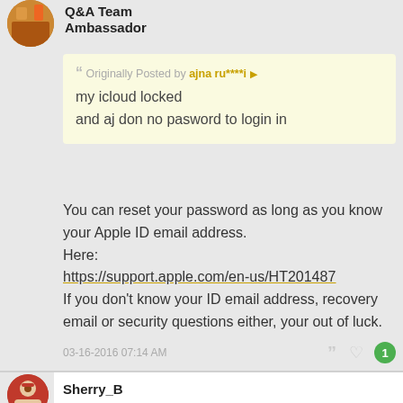Q&A Team
Ambassador
Originally Posted by ajna ru****i
my icloud locked
and aj don no pasword to login in
You can reset your password as long as you know your Apple ID email address.
Here:
https://support.apple.com/en-us/HT201487
If you don't know your ID email address, recovery email or security questions either, your out of luck.
03-16-2016 07:14 AM
Sherry_B